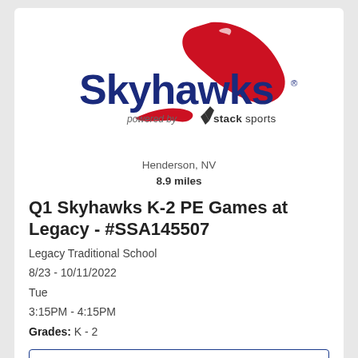[Figure (logo): Skyhawks powered by Stack Sports logo with red swoosh/bird graphic and dark navy blue text]
Henderson, NV
8.9 miles
Q1 Skyhawks K-2 PE Games at Legacy - #SSA145507
Legacy Traditional School
8/23 - 10/11/2022
Tue
3:15PM - 4:15PM
Grades: K - 2
Details